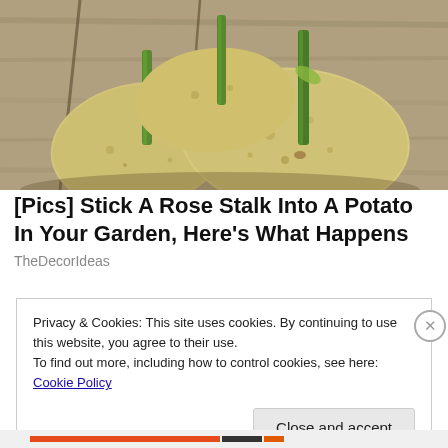[Figure (photo): Three yellowish potatoes with green rose stalks inserted into them, placed on a wooden surface in sunlight.]
[Pics] Stick A Rose Stalk Into A Potato In Your Garden, Here's What Happens
TheDecorIdeas
Privacy & Cookies: This site uses cookies. By continuing to use this website, you agree to their use.
To find out more, including how to control cookies, see here: Cookie Policy
Close and accept